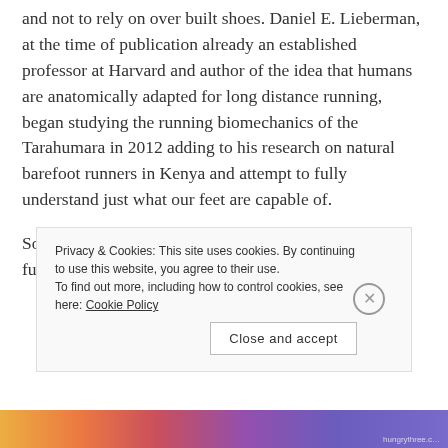and not to rely on over built shoes. Daniel E. Lieberman, at the time of publication already an established professor at Harvard and author of the idea that humans are anatomically adapted for long distance running, began studying the running biomechanics of the Tarahumara in 2012 adding to his research on natural barefoot runners in Kenya and attempt to fully understand just what our feet are capable of.
Some of the runners featured in the book went on to further success. Jenn Shelton who was in the early
Privacy & Cookies: This site uses cookies. By continuing to use this website, you agree to their use. To find out more, including how to control cookies, see here: Cookie Policy
[Figure (photo): Colorful decorative image strip at the bottom of the page with orange, red, purple gradient patterns]